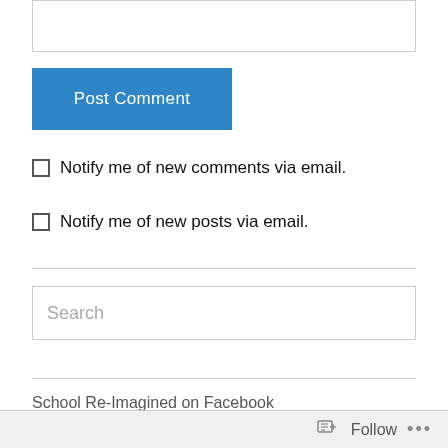[Figure (screenshot): Empty text input box at the top of the page]
Post Comment
Notify me of new comments via email.
Notify me of new posts via email.
Search
School Re-Imagined on Facebook
Follow ...